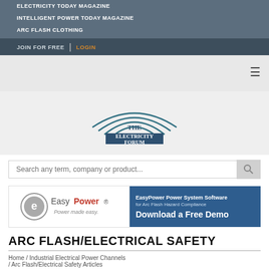ELECTRICITY TODAY MAGAZINE
INTELLIGENT POWER TODAY MAGAZINE
ARC FLASH CLOTHING
JOIN FOR FREE  |  LOGIN
[Figure (logo): The Electricity Forum logo with arc lines above text]
Search any term, company or product...
[Figure (logo): EasyPower logo with tagline 'Power made easy.']
[Figure (infographic): EasyPower Power System Software for Arc Flash Hazard Compliance - Download a Free Demo banner ad]
ARC FLASH/ELECTRICAL SAFETY
Home / Industrial Electrical Power Channels / Arc Flash/Electrical Safety Articles